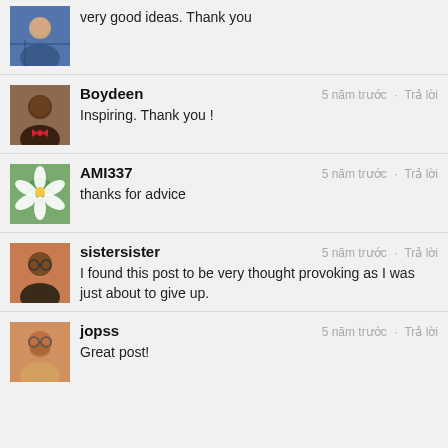[Figure (photo): Avatar of a man in blue plaid shirt]
very good ideas. Thank you
[Figure (photo): Avatar of a man in red bow tie]
Boydeen
5 năm trước · Trả lời
Inspiring. Thank you !
[Figure (photo): Avatar showing white flowers/lily]
AMI337
5 năm trước · Trả lời
thanks for advice
[Figure (photo): Avatar of a woman with glasses]
sistersister
5 năm trước · Trả lời
I found this post to be very thought provoking as I was just about to give up.
[Figure (photo): Avatar of a man with beard]
jopss
5 năm trước · Trả lời
Great post!